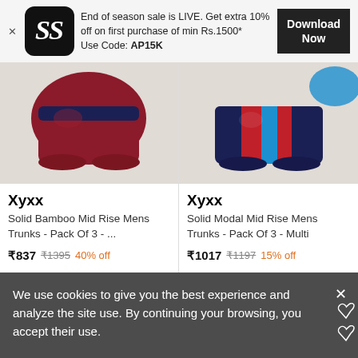[Figure (screenshot): App promotional banner with logo, sale text, and Download Now button]
[Figure (photo): Product image: dark red/maroon Xyxx mens trunks on beige background]
[Figure (photo): Product image: navy/red/blue Xyxx mens trunks on beige background]
Xyxx
Solid Bamboo Mid Rise Mens Trunks - Pack Of 3 - ...
₹837 ₹1395 40% off
Xyxx
Solid Modal Mid Rise Mens Trunks - Pack Of 3 - Multi
₹1017 ₹1197 15% off
We use cookies to give you the best experience and analyze the site use. By continuing your browsing, you accept their use.
Find out more about cookies in Privacy Policy